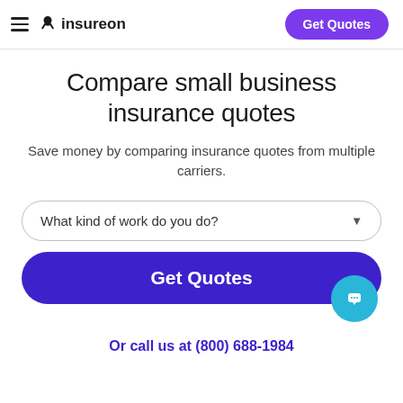insureon — Get Quotes
Compare small business insurance quotes
Save money by comparing insurance quotes from multiple carriers.
What kind of work do you do?
Get Quotes
Or call us at (800) 688-1984